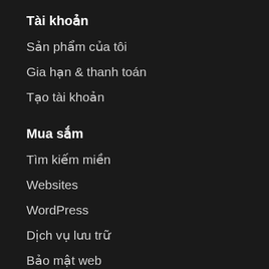Tài khoản
Sản phẩm của tôi
Gia hạn & thanh toán
Tạo tài khoản
Mua sắm
Tìm kiếm miền
Websites
WordPress
Dịch vụ lưu trữ
Bảo mật web
Email & Office
Khuyến mại